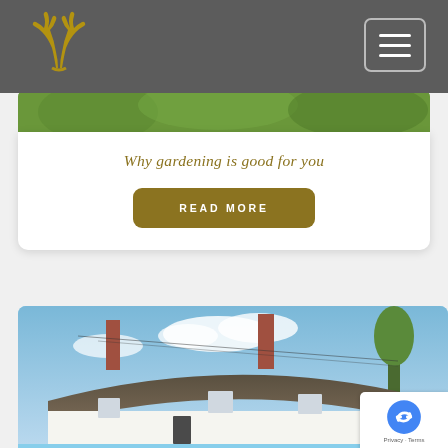[Figure (logo): Gold antler logo on grey header bar]
[Figure (screenshot): Hamburger menu button icon (three horizontal bars) in rounded rectangle on grey header]
[Figure (photo): Green garden foliage image strip, partially visible at top of card]
Why gardening is good for you
[Figure (other): Gold rounded rectangle READ MORE button]
[Figure (photo): Photograph of a traditional English thatched cottage with white walls, brick chimneys, dormer windows, and blue sky background]
[Figure (other): reCAPTCHA badge with Privacy and Terms links]